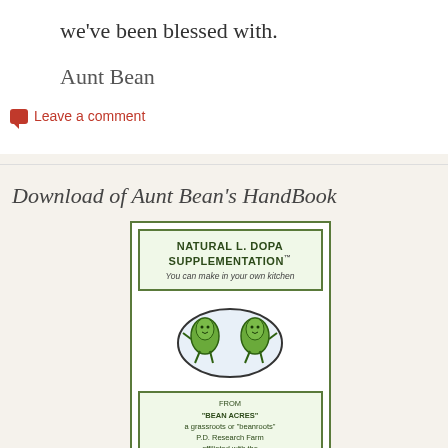we've been blessed with.
Aunt Bean
Leave a comment
Download of Aunt Bean's HandBook
[Figure (photo): Book cover for 'Natural L. Dopa Supplementation' from Bean Acres, a grassroots P.D. Research Farm affiliated with the N.E. Tennessee P.D. Support Group, Johnson City, TN, www.neod.com. Features two illustrated bean characters inside an oval.]